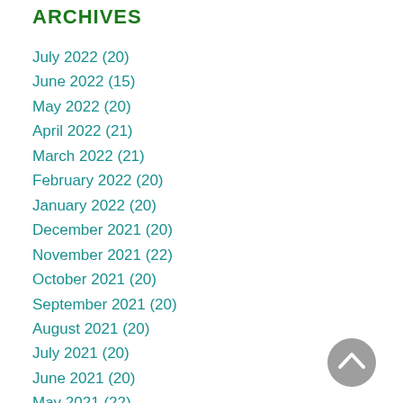ARCHIVES
July 2022 (20)
June 2022 (15)
May 2022 (20)
April 2022 (21)
March 2022 (21)
February 2022 (20)
January 2022 (20)
December 2021 (20)
November 2021 (22)
October 2021 (20)
September 2021 (20)
August 2021 (20)
July 2021 (20)
June 2021 (20)
May 2021 (22)